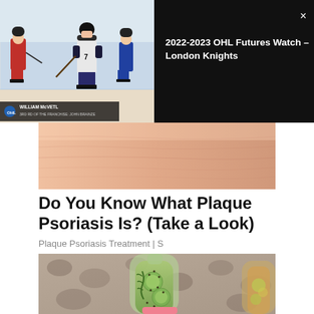[Figure (screenshot): Video player overlay showing hockey game thumbnail on left with player on ice rink, and on the right a dark panel showing title '2022-2023 OHL Futures Watch – London Knights' with a close (X) button]
[Figure (photo): Close-up photo of skin, pinkish-peach tone, showing texture of what appears to be skin with psoriasis]
Do You Know What Plaque Psoriasis Is? (Take a Look)
Plaque Psoriasis Treatment | S
[Figure (photo): Close-up photo of a glass bottle filled with green cucumber and herb infused water with chia seeds, held by a hand with pink nails, blurred stone background]